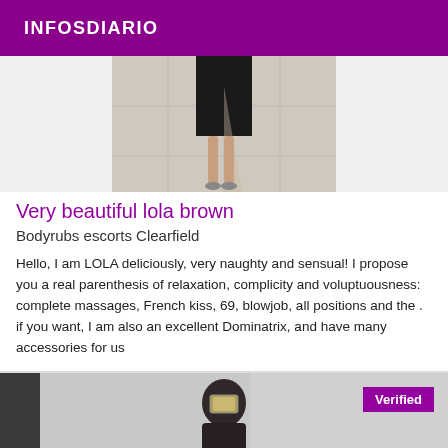INFOSDIARIO
[Figure (photo): Photo of a person wearing a black dress standing on a tiled floor, lower body visible]
Very beautiful lola brown
Bodyrubs escorts Clearfield
Hello, I am LOLA deliciously, very naughty and sensual! I propose you a real parenthesis of relaxation, complicity and voluptuousness: complete massages, French kiss, 69, blowjob, all positions and the . if you want, I am also an excellent Dominatrix, and have many accessories for us
[Figure (photo): Person taking a selfie in a mirror, holding a phone, dark hair]
Verified